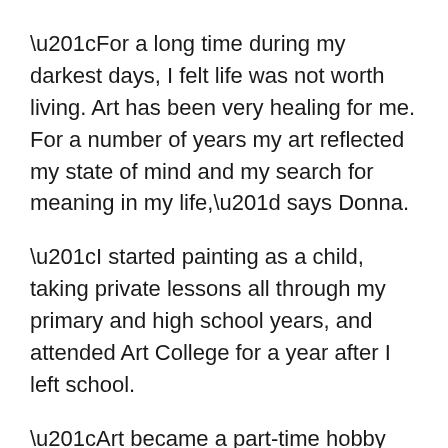“For a long time during my darkest days, I felt life was not worth living. Art has been very healing for me. For a number of years my art reflected my state of mind and my search for meaning in my life,” says Donna.
“I started painting as a child, taking private lessons all through my primary and high school years, and attended Art College for a year after I left school.
“Art became a part-time hobby while I was raising my children when I was focussed on having a ‘real job.’ In my mid-forties, I had to give up my managerial career due to my declining health so I turned once more to creating art, returning to study